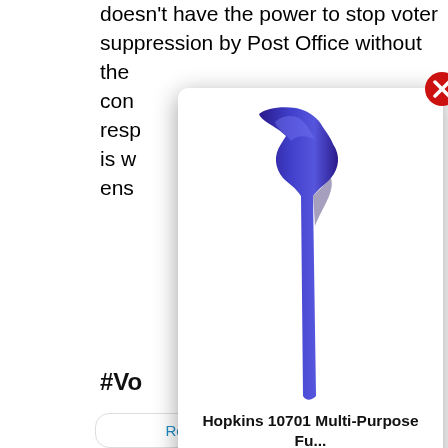doesn't have the power to stop voter suppression by Post Office without the con st resp t 22 is w ens
#Vo
[Figure (screenshot): Embedded tweet card with avatar and partial text: 'Tru ... s. No ... st offi ... mill ... ms tha ...']
4:31
Read 2.5K replies
[Figure (photo): Ad overlay popup showing a purple Hopkins 10701 Multi-Purpose funnel product with a red close button (X) in top right, product title 'Hopkins 10701 Multi-Purpose Fu...', star rating 4.5 stars (52 reviews), price $1.98, and info icon.]
Hopkins 10701 Multi-Purpose Fu...
(52) $1.98